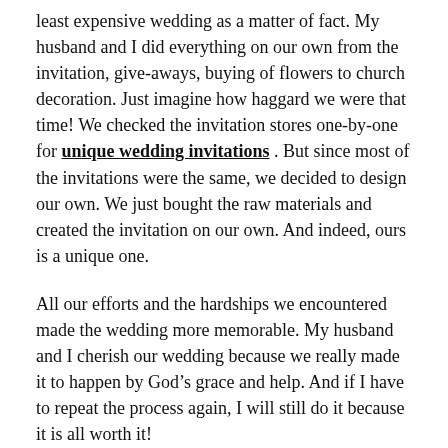least expensive wedding as a matter of fact. My husband and I did everything on our own from the invitation, give-aways, buying of flowers to church decoration. Just imagine how haggard we were that time! We checked the invitation stores one-by-one for unique wedding invitations . But since most of the invitations were the same, we decided to design our own. We just bought the raw materials and created the invitation on our own. And indeed, ours is a unique one.
All our efforts and the hardships we encountered made the wedding more memorable. My husband and I cherish our wedding because we really made it to happen by God’s grace and help. And if I have to repeat the process again, I will still do it because it is all worth it!
http://feeds.feedburner.com/sarahg26/fetz